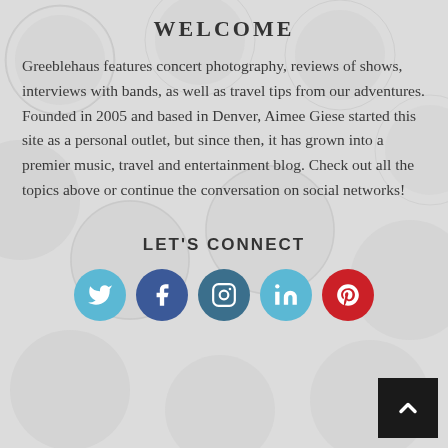WELCOME
Greeblehaus features concert photography, reviews of shows, interviews with bands, as well as travel tips from our adventures. Founded in 2005 and based in Denver, Aimee Giese started this site as a personal outlet, but since then, it has grown into a premier music, travel and entertainment blog. Check out all the topics above or continue the conversation on social networks!
LET'S CONNECT
[Figure (infographic): Five social media icon circles in a row: Twitter (light blue), Facebook (dark blue), Instagram (dark teal), LinkedIn (light blue), Pinterest (red), each containing the respective platform icon in white.]
[Figure (other): Black square button with white upward-pointing chevron arrow (back to top button), positioned at bottom right corner.]